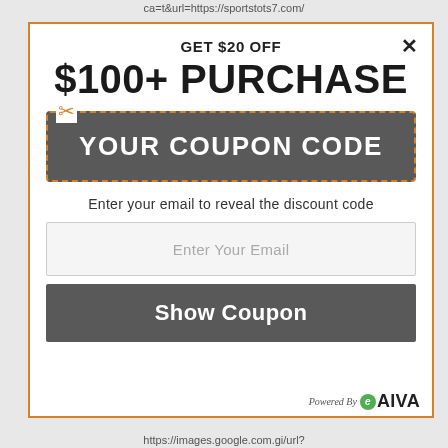ca=t8url=https://sportstots7.com/
GET $20 OFF
$100+ PURCHASE
[Figure (infographic): Coupon code area: dark grey rectangle with dashed orange border, scissors icon at top-left, text 'YOUR COUPON CODE' in white bold letters]
Enter your email to reveal the discount code
Enter Your Email
Show Coupon
[Figure (logo): Powered By with eAIVA logo — green circle with italic e, followed by AIVA in bold]
https://images.google.com.gi/url?